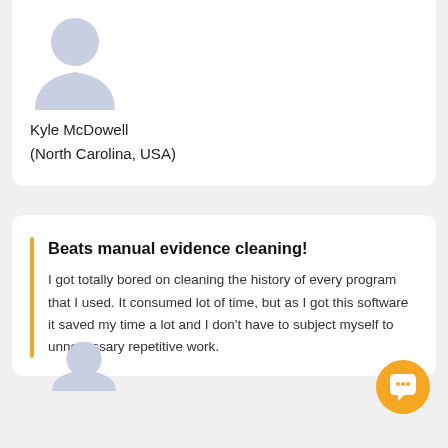[Figure (illustration): Generic user avatar silhouette in light blue-gray color]
Kyle McDowell
(North Carolina, USA)
Beats manual evidence cleaning!
I got totally bored on cleaning the history of every program that I used. It consumed lot of time, but as I got this software it saved my time a lot and I don't have to subject myself to unnecessary repetitive work.
[Figure (illustration): Generic user avatar silhouette in light blue-gray color, partially visible at bottom]
[Figure (illustration): Orange circular chat/support button icon]